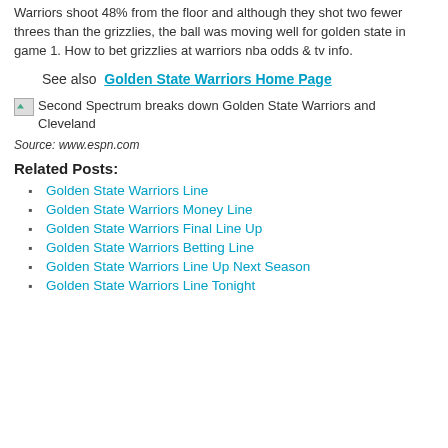Warriors shoot 48% from the floor and although they shot two fewer threes than the grizzlies, the ball was moving well for golden state in game 1. How to bet grizzlies at warriors nba odds & tv info.
See also  Golden State Warriors Home Page
[Figure (photo): Broken image placeholder for: Second Spectrum breaks down Golden State Warriors and Cleveland]
Source: www.espn.com
Related Posts:
Golden State Warriors Line
Golden State Warriors Money Line
Golden State Warriors Final Line Up
Golden State Warriors Betting Line
Golden State Warriors Line Up Next Season
Golden State Warriors Line Tonight